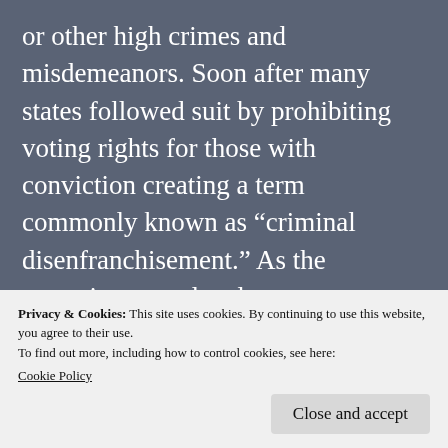or other high crimes and misdemeanors. Soon after many states followed suit by prohibiting voting rights for those with conviction creating a term commonly known as “criminal disenfranchisement.” As the centuries passed and more Americans were becoming casualties of the prison system, the disenfranchised and advocates pushed to reform voting rights. Those affected by states refusing to allow voting of those convicted was gaining momentum in part by allowing a voice of the
Privacy & Cookies: This site uses cookies. By continuing to use this website, you agree to their use.
To find out more, including how to control cookies, see here:
Cookie Policy
Constitution. On April 10, 1985, the US